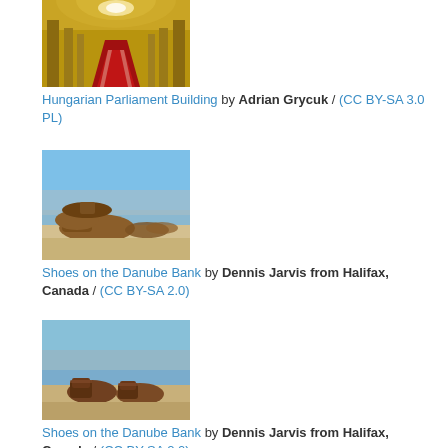[Figure (photo): Interior of the Hungarian Parliament Building, showing ornate gold ceiling and red carpet aisle]
Hungarian Parliament Building by Adrian Grycuk / (CC BY-SA 3.0 PL)
[Figure (photo): Shoes on the Danube Bank memorial sculpture, close-up view with water and city in background]
Shoes on the Danube Bank by Dennis Jarvis from Halifax, Canada / (CC BY-SA 2.0)
[Figure (photo): Shoes on the Danube Bank memorial sculpture, another angle showing iron shoes on sandy bank]
Shoes on the Danube Bank by Dennis Jarvis from Halifax, Canada / (CC BY-SA 2.0)